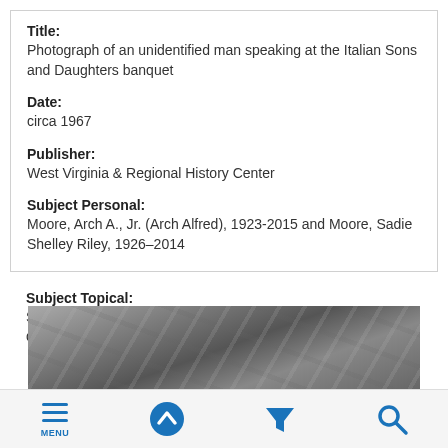Title:
Photograph of an unidentified man speaking at the Italian Sons and Daughters banquet
Date:
circa 1967
Publisher:
West Virginia & Regional History Center
Subject Personal:
Moore, Arch A., Jr. (Arch Alfred), 1923-2015 and Moore, Sadie Shelley Riley, 1926–2014
Subject Topical:
Speeches, addresses, etc, Husband and wife, Dinners and dining, Organization, Governors--West Virginia, and
[Figure (photo): Black and white photograph of a banquet scene, partially visible at the bottom of the page]
MENU (navigation bar with menu, up, filter, and search icons)